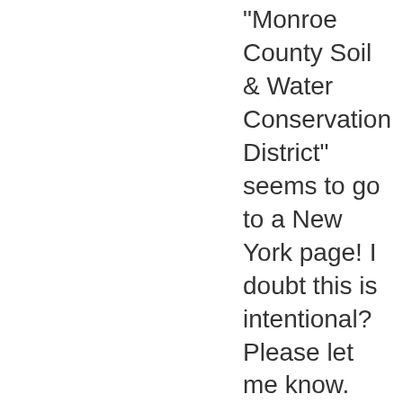"Monroe County Soil & Water Conservation District" seems to go to a New York page! I doubt this is intentional? Please let me know. The 2013 fee schedule says $45 for a rain barrel, which I might be interested in if I can really pick one up in Bloomington IN. Thank